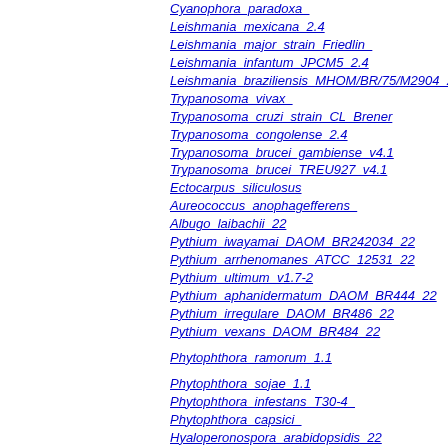Cyanophora_paradoxa_
Leishmania_mexicana_2.4
Leishmania_major_strain_Friedlin_
Leishmania_infantum_JPCM5_2.4
Leishmania_braziliensis_MHOM/BR/75/M2904_2.4
Trypanosoma_vivax_
Trypanosoma_cruzi_strain_CL_Brener
Trypanosoma_congolense_2.4
Trypanosoma_brucei_gambiense_v4.1
Trypanosoma_brucei_TREU927_v4.1
Ectocarpus_siliculosus
Aureococcus_anophagefferens_
Albugo_laibachii_22
Pythium_iwayamai_DAOM_BR242034_22
Pythium_arrhenomanes_ATCC_12531_22
Pythium_ultimum_v1.7-2
Pythium_aphanidermatum_DAOM_BR444_22
Pythium_irregulare_DAOM_BR486_22
Pythium_vexans_DAOM_BR484_22
Phytophthora_ramorum_1.1
Phytophthora_sojae_1.1
Phytophthora_infestans_T30-4_
Phytophthora_capsici_
Hyaloperonospora_arabidopsidis_22
Phaeodactylum_tricornutumCCAP_1055/1
Fragilariopsis_cylindrus
Thalassiosira_pseudonana_CCMP1335
Perkinsus_marinus_ATCC_50983_
Paramecium_tetraurelia